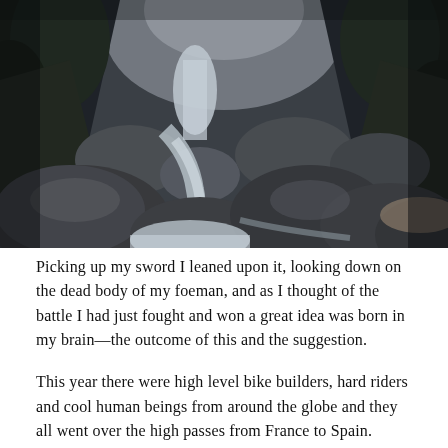[Figure (photo): Black and white photograph of a rocky mountain stream or waterfall flowing between large boulders, with dense forested slopes and misty mountain peaks in the background.]
Picking up my sword I leaned upon it, looking down on the dead body of my foeman, and as I thought of the battle I had just fought and won a great idea was born in my brain—the outcome of this and the suggestion.
This year there were high level bike builders, hard riders and cool human beings from around the globe and they all went over the high passes from France to Spain. Some went fast, some went less-fast,